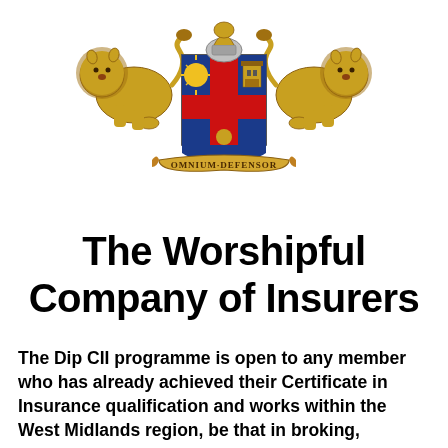[Figure (logo): Heraldic coat of arms of The Worshipful Company of Insurers, featuring two golden lions as supporters, a shield with blue and red cross, and a scroll banner reading 'OMNIUM DEFENSOR']
The Worshipful Company of Insurers
The Dip CII programme is open to any member who has already achieved their Certificate in Insurance qualification and works within the West Midlands region, be that in broking, underwriting, claims or another area of the profession.